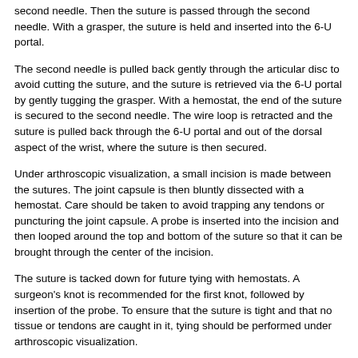second needle. Then the suture is passed through the second needle. With a grasper, the suture is held and inserted into the 6-U portal.
The second needle is pulled back gently through the articular disc to avoid cutting the suture, and the suture is retrieved via the 6-U portal by gently tugging the grasper. With a hemostat, the end of the suture is secured to the second needle. The wire loop is retracted and the suture is pulled back through the 6-U portal and out of the dorsal aspect of the wrist, where the suture is then secured.
Under arthroscopic visualization, a small incision is made between the sutures. The joint capsule is then bluntly dissected with a hemostat. Care should be taken to avoid trapping any tendons or puncturing the joint capsule. A probe is inserted into the incision and then looped around the top and bottom of the suture so that it can be brought through the center of the incision.
The suture is tacked down for future tying with hemostats. A surgeon's knot is recommended for the first knot, followed by insertion of the probe. To ensure that the suture is tight and that no tissue or tendons are caught in it, tying should be performed under arthroscopic visualization.
An arthroscopic knotless anchor approach to repair of class IB TFCC injuries has been reported to yield and good functional and occupational results with a low complication rate.[60]
Chen et al reviewed 59 wrists treated with the outside-in repair and concluded that arthroscopy resulted in correct diagnosis and treatment of peripheral TFCC tears.[61]
Edgerton et al used an unusual all-inside technique for traumatic repairs that showed good results; further study is required.[62]